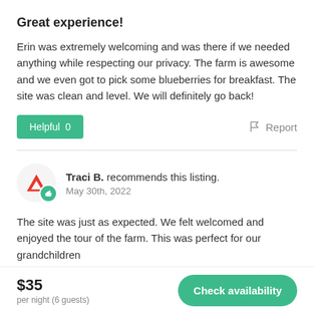Great experience!
Erin was extremely welcoming and was there if we needed anything while respecting our privacy. The farm is awesome and we even got to pick some blueberries for breakfast. The site was clean and level. We will definitely go back!
Helpful 0    Report
Traci B. recommends this listing. May 30th, 2022
The site was just as expected. We felt welcomed and enjoyed the tour of the farm. This was perfect for our grandchildren
$35 per night (6 guests)  Check availability